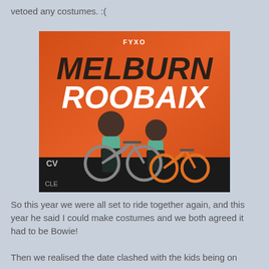vetoed any costumes. :(
[Figure (photo): Two cyclists standing with their bikes in front of a large orange FYXO Melburn Roobaix banner. An adult and a child, both wearing helmets and teal/mint cycling jackets, pose on a black platform with their bicycles.]
So this year we were all set to ride together again, and this year he said I could make costumes and we both agreed it had to be Bowie!
Then we realised the date clashed with the kids being on